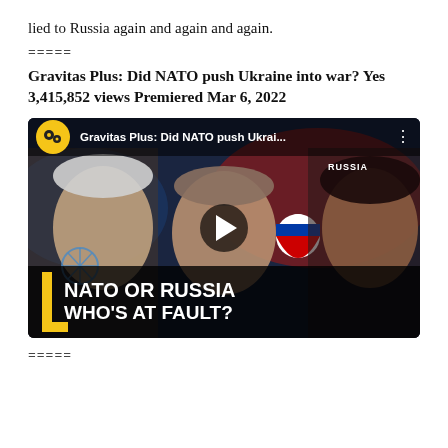lied to Russia again and again and again.
=====
Gravitas Plus: Did NATO push Ukraine into war? Yes 3,415,852 views Premiered Mar 6, 2022
[Figure (screenshot): YouTube video thumbnail for 'Gravitas Plus: Did NATO push Ukraine into war?' showing Biden, Putin, and a female anchor, with text 'NATO OR RUSSIA WHO'S AT FAULT?' in bold yellow/white text at the bottom, WION logo in top-left, play button in center.]
=====